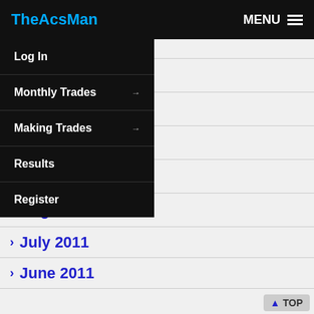TheAcsMan | MENU
January 2012
December 2011
November 2011
October 2011
September 2011
August 2011
July 2011
June 2011
May 2011
April 2011
January 2011